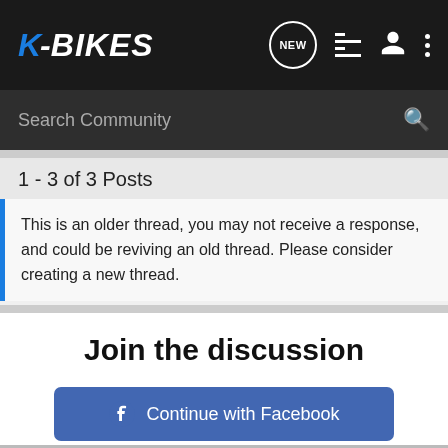K-BIKES
Search Community
1 - 3 of 3 Posts
This is an older thread, you may not receive a response, and could be reviving an old thread. Please consider creating a new thread.
Join the discussion
Continue with Facebook
Continue with Google
or sign up with email